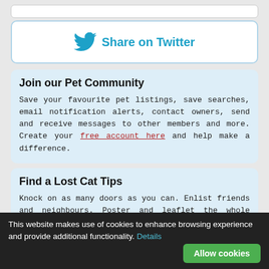[Figure (other): Twitter bird icon with 'Share on Twitter' button in teal/blue color inside a rounded white bordered box]
Join our Pet Community
Save your favourite pet listings, save searches, email notification alerts, contact owners, send and receive messages to other members and more. Create your free account here and help make a difference.
Find a Lost Cat Tips
Knock on as many doors as you can. Enlist friends and neighbours. Poster and leaflet the whole area. Contact local animal shelters and vets. Read more missing pet tips
This website makes use of cookies to enhance browsing experience and provide additional functionality. Details